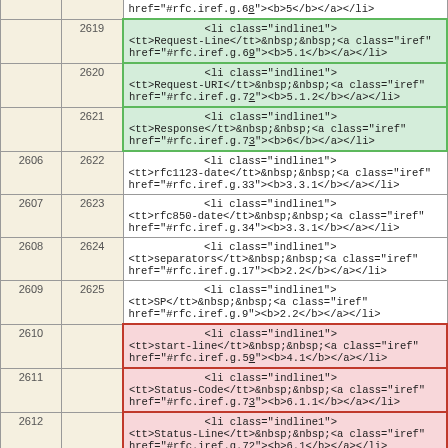| col1 | col2 | code |
| --- | --- | --- |
|  |  | href="#rfc.iref.g.68"><b>5</b></a></li> |
|  | 2619 | <li class="indline1">
<tt>Request-Line</tt>&nbsp;&nbsp;<a class="iref"
href="#rfc.iref.g.69"><b>5.1</b></a></li> |
|  | 2620 | <li class="indline1">
<tt>Request-URI</tt>&nbsp;&nbsp;<a class="iref"
href="#rfc.iref.g.72"><b>5.1.2</b></a></li> |
|  | 2621 | <li class="indline1">
<tt>Response</tt>&nbsp;&nbsp;<a class="iref"
href="#rfc.iref.g.73"><b>6</b></a></li> |
| 2606 | 2622 | <li class="indline1">
<tt>rfc1123-date</tt>&nbsp;&nbsp;<a class="iref"
href="#rfc.iref.g.33"><b>3.3.1</b></a></li> |
| 2607 | 2623 | <li class="indline1">
<tt>rfc850-date</tt>&nbsp;&nbsp;<a class="iref"
href="#rfc.iref.g.34"><b>3.3.1</b></a></li> |
| 2608 | 2624 | <li class="indline1">
<tt>separators</tt>&nbsp;&nbsp;<a class="iref"
href="#rfc.iref.g.17"><b>2.2</b></a></li> |
| 2609 | 2625 | <li class="indline1">
<tt>SP</tt>&nbsp;&nbsp;<a class="iref"
href="#rfc.iref.g.9"><b>2.2</b></a></li> |
| 2610 |  | <li class="indline1">
<tt>start-line</tt>&nbsp;&nbsp;<a class="iref"
href="#rfc.iref.g.59"><b>4.1</b></a></li> |
| 2611 |  | <li class="indline1">
<tt>Status-Code</tt>&nbsp;&nbsp;<a class="iref"
href="#rfc.iref.g.73"><b>6.1.1</b></a></li> |
| 2612 |  | <li class="indline1">
<tt>Status-Line</tt>&nbsp;&nbsp;<a class="iref"
href="#rfc.iref.g.72"><b>6.1</b></a></li> |
| 2613 |  | <li class="indline1">
<tt>t-codings</tt>&nbsp;&nbsp;<a class="iref"
href="#rfc.iref.g.82"><b>8.5</b></a></li> |
| 2614 |  | <li class="indline1">
<tt>TE</tt>&nbsp;&nbsp;<a class="iref" |